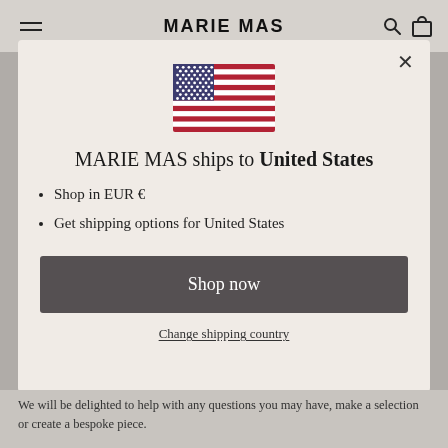MARIE MAS
[Figure (illustration): United States flag emoji/illustration]
MARIE MAS ships to United States
Shop in EUR €
Get shipping options for United States
Shop now
Change shipping country
We will be delighted to help with any questions you may have, make a selection or create a bespoke piece.